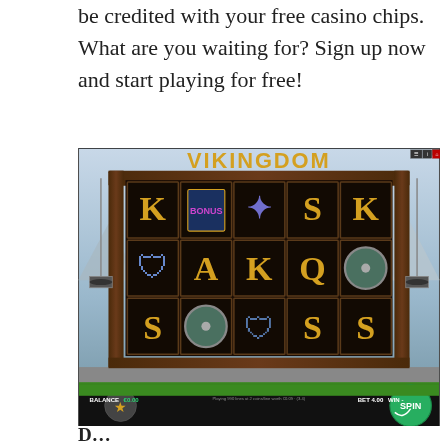be credited with your free casino chips. What are you waiting for? Sign up now and start playing for free!
[Figure (screenshot): Screenshot of Vikingdom online slot game showing a 5x3 slot machine grid with Viking-themed symbols (K, A, S), a green SPIN button, balance showing €0.00, BET 4.00, WIN -, and game title VIKINGDOM at the top]
D...